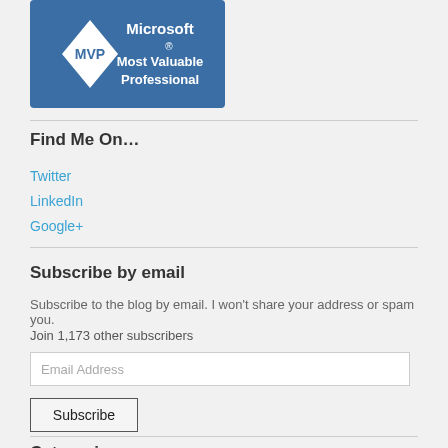[Figure (logo): Microsoft MVP (Most Valuable Professional) blue diamond logo]
Find Me On…
Twitter
LinkedIn
Google+
Subscribe by email
Subscribe to the blog by email. I won't share your address or spam you.
Join 1,173 other subscribers
Categories